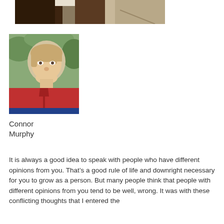[Figure (photo): Partial top photo showing two people in formal attire (suits/tie), cropped at the top of the page.]
[Figure (photo): Portrait photo of Connor Murphy, a young man with light brown hair wearing a red zip-up jacket, smiling, outdoors with trees in background.]
Connor
Murphy
It is always a good idea to speak with people who have different opinions from you. That’s a good rule of life and downright necessary for you to grow as a person. But many people think that people with different opinions from you tend to be well, wrong. It was with these conflicting thoughts that I entered the